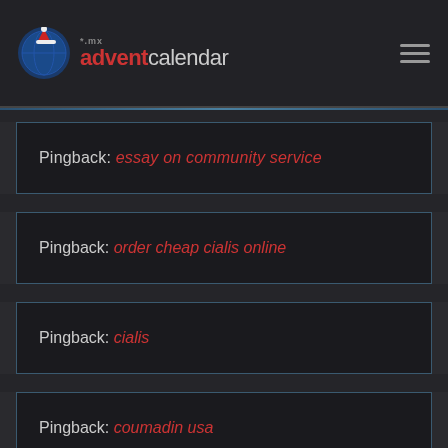*.mx adventcalendar
Pingback: essay on community service
Pingback: order cheap cialis online
Pingback: cialis
Pingback: coumadin usa